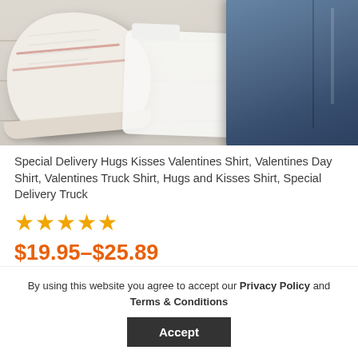[Figure (photo): Flatlay photo of white sneakers/Converse shoes, white t-shirt, and blue denim jeans on a white wood surface]
Special Delivery Hugs Kisses Valentines Shirt, Valentines Day Shirt, Valentines Truck Shirt, Hugs and Kisses Shirt, Special Delivery Truck
★★★★★
$19.95–$25.89
[Figure (photo): Second product image with -30% discount badge, showing clothing items on white wood surface]
By using this website you agree to accept our Privacy Policy and Terms & Conditions
Accept